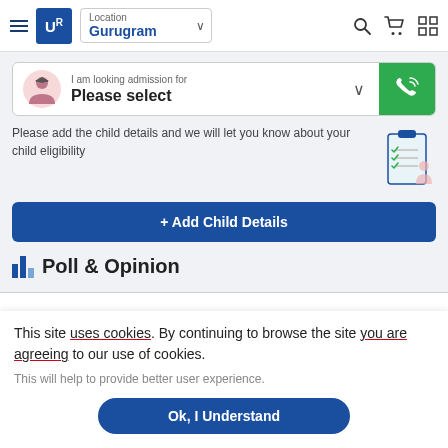[Figure (screenshot): Navigation bar with hamburger menu, UR logo, location selector showing Gurugram, search icon, cart icon, and grid icon]
[Figure (screenshot): Admission search widget with student icon, 'I am looking admission for / Please select' dropdown, and green phone callback button]
Please add the child details and we will let you know about your child eligibility
+ Add Child Details
Poll & Opinion
This site uses cookies. By continuing to browse the site you are agreeing to our use of cookies.
This will help to provide better user experience.
Ok, I Understand